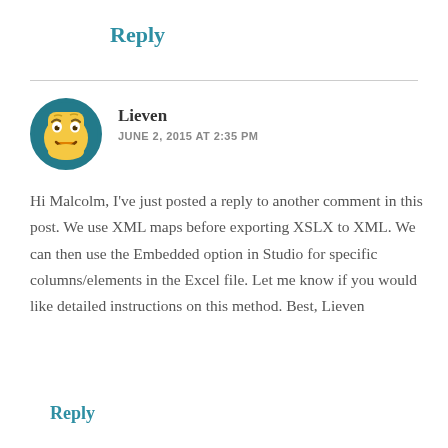Reply
Lieven
JUNE 2, 2015 AT 2:35 PM
Hi Malcolm, I've just posted a reply to another comment in this post. We use XML maps before exporting XSLX to XML. We can then use the Embedded option in Studio for specific columns/elements in the Excel file. Let me know if you would like detailed instructions on this method. Best, Lieven
Reply